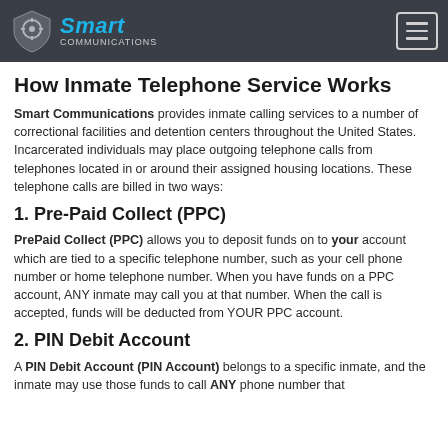Smart Communications
How Inmate Telephone Service Works
Smart Communications provides inmate calling services to a number of correctional facilities and detention centers throughout the United States. Incarcerated individuals may place outgoing telephone calls from telephones located in or around their assigned housing locations. These telephone calls are billed in two ways:
1. Pre-Paid Collect (PPC)
PrePaid Collect (PPC) allows you to deposit funds on to your account which are tied to a specific telephone number, such as your cell phone number or home telephone number. When you have funds on a PPC account, ANY inmate may call you at that number. When the call is accepted, funds will be deducted from YOUR PPC account.
2. PIN Debit Account
A PIN Debit Account (PIN Account) belongs to a specific inmate, and the inmate may use those funds to call ANY phone number that